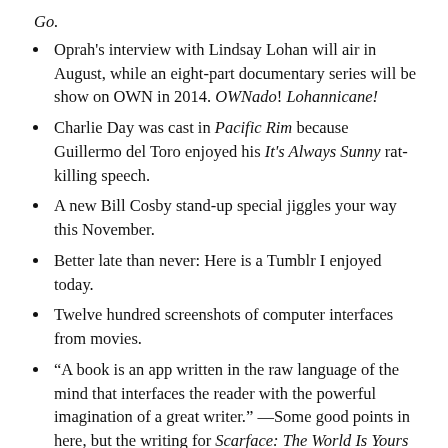Go.
Oprah's interview with Lindsay Lohan will air in August, while an eight-part documentary series will be show on OWN in 2014. OWNado! Lohannicane!
Charlie Day was cast in Pacific Rim because Guillermo del Toro enjoyed his It's Always Sunny rat-killing speech.
A new Bill Cosby stand-up special jiggles your way this November.
Better late than never: Here is a Tumblr I enjoyed today.
Twelve hundred screenshots of computer interfaces from movies.
“A book is an app written in the raw language of the mind that interfaces the reader with the powerful imagination of a great writer.” —Some good points in here, but the writing for Scarface: The World Is Yours was impeccable.